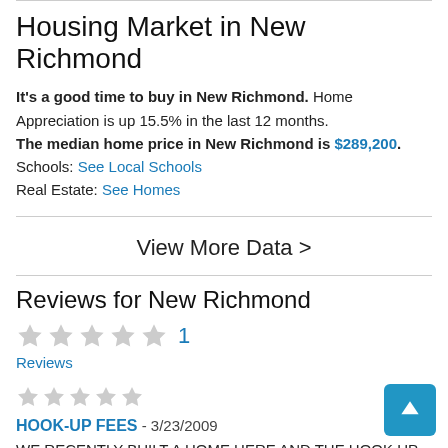Housing Market in New Richmond
It's a good time to buy in New Richmond. Home Appreciation is up 15.5% in the last 12 months. The median home price in New Richmond is $289,200. Schools: See Local Schools Real Estate: See Homes
View More Data >
Reviews for New Richmond
1 Reviews
HOOK-UP FEES - 3/23/2009
WE RECENTLY BUILT A HOME HERE AND THE HOOK UP FEES ARE MUCH HIGHER THAN SURROUNDING